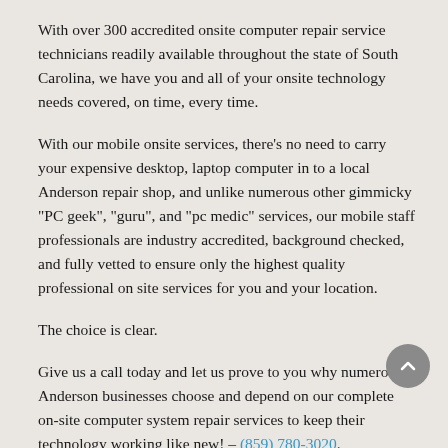With over 300 accredited onsite computer repair service technicians readily available throughout the state of South Carolina, we have you and all of your onsite technology needs covered, on time, every time.
With our mobile onsite services, there's no need to carry your expensive desktop, laptop computer in to a local Anderson repair shop, and unlike numerous other gimmicky "PC geek", "guru", and "pc medic" services, our mobile staff professionals are industry accredited, background checked, and fully vetted to ensure only the highest quality professional on site services for you and your location.
The choice is clear.
Give us a call today and let us prove to you why numerous Anderson businesses choose and depend on our complete on-site computer system repair services to keep their technology working like new! – (859) 780-3020.
Anderson South Carolina Onsite Computer System PC Repair...